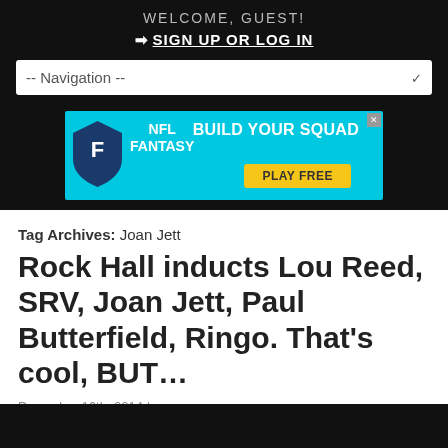WELCOME, GUEST!
➜ SIGN UP OR LOG IN
-- Navigation --
[Figure (infographic): NFL Fantasy 'Build Your Squad - Play Free' advertisement banner with cyan background, NFL Fantasy shield logo, and yellow play button]
Tag Archives: Joan Jett
Rock Hall inducts Lou Reed, SRV, Joan Jett, Paul Butterfield, Ringo. That's cool, BUT…
December 16th, 2014 |
It's hard to take the Rock and Roll Hall of Fame seriously. Besides the flippant snubs of classic rock legends over the years, the final straw for